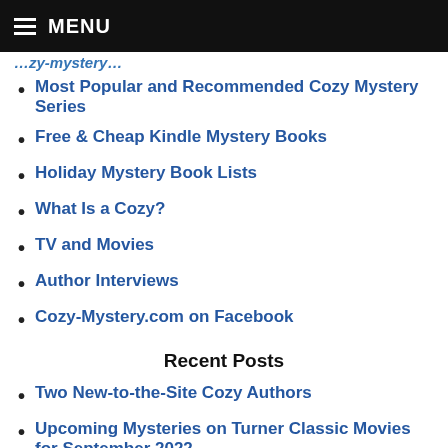MENU
Most Popular and Recommended Cozy Mystery Series
Free & Cheap Kindle Mystery Books
Holiday Mystery Book Lists
What Is a Cozy?
TV and Movies
Author Interviews
Cozy-Mystery.com on Facebook
Recent Posts
Two New-to-the-Site Cozy Authors
Upcoming Mysteries on Turner Classic Movies for September 2022
August 22 to August 28, 2022